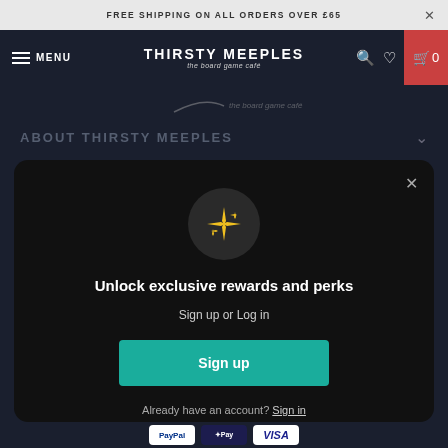FREE SHIPPING ON ALL ORDERS OVER £65
THIRSTY MEEPLES the board game café — MENU
ABOUT THIRSTY MEEPLES
[Figure (screenshot): Modal dialog with sparkle icon, heading 'Unlock exclusive rewards and perks', subtext 'Sign up or Log in', a teal Sign up button, and a 'Already have an account? Sign in' link]
Sign up or Log in
Already have an account? Sign in